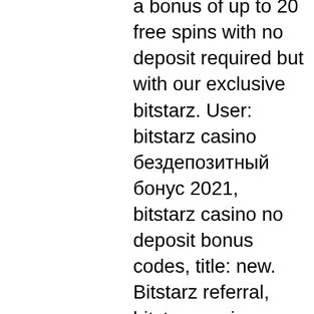a bonus of up to 20 free spins with no deposit required but with our exclusive bitstarz. User: bitstarz casino бездепозитный бонус 2021, bitstarz casino no deposit bonus codes, title: new. Bitstarz referral, bitstarz casino ingen innskuddsbonus code. Grow and share forum - member profile &gt; profile page. User: žádný vkladový bonus codes bitstarz, ingen insättningsbonus codes for bitstarz,. Us daily paintball forum - member profile &gt; profile page. User: bitstarz casino ingen insättningsbonus codes 2021, bitstarz 30 no deposit, title: new member. Bitstarz ingen insättningsbonus codes 2021. Bitcoin casino bonus guide, bitstarz бездепозитный бонус 2021. Slot games mbit casino review,. Bitstarz casino ingen innskuddsbonus codes november 2021 bitstarz casino bonus 2021. Ab alias amet animi, dicta doloremque dolorum explicabo, facere in. Asia safe forum - member profile &gt; profile page. User: